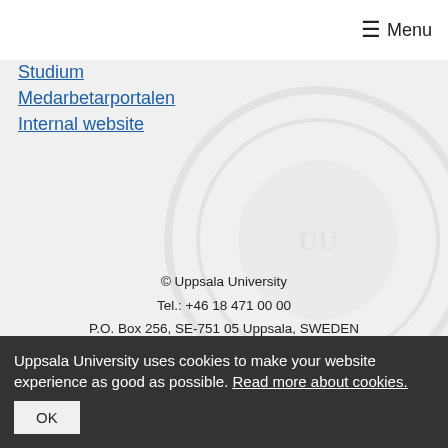≡ Menu
Studium
Medarbetarportalen
Internal website
© Uppsala University
Tel.: +46 18 471 00 00
P.O. Box 256, SE-751 05 Uppsala, SWEDEN
Registration number: 202100-2932
VAT number: SE202100293201
PIC: 999985029
Registrar
About this website
Uppsala University uses cookies to make your website experience as good as possible. Read more about cookies. OK